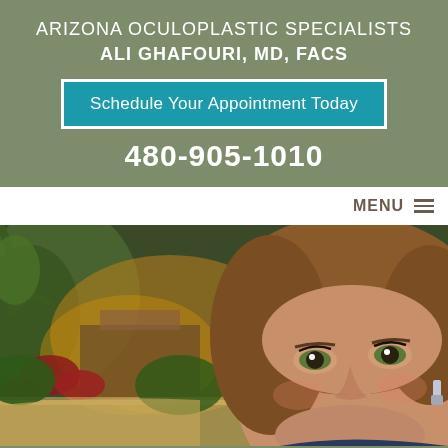ARIZONA OCULOPLASTIC SPECIALISTS
ALI GHAFOURI, MD, FACS
Schedule Your Appointment Today
480-905-1010
MENU
[Figure (photo): Hero image showing a smiling woman with auburn hair against a lush outdoor Arizona landscape background with warm lighting, colorful flowers, and architectural elements.]
Please CLICK HERE to read about what COVID-19 precautions we are taking.